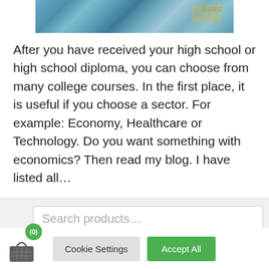[Figure (photo): Cropped photo of Euro banknotes showing colorful currency notes, partially visible at the top of the page]
After you have received your high school or high school diploma, you can choose from many college courses. In the first place, it is useful if you choose a sector. For example: Economy, Healthcare or Technology. Do you want something with economics? Then read my blog. I have listed all…
[Figure (screenshot): Search products input box with placeholder text 'Search products...']
We use cookies on our website to give you the most relevant experience by remembering your preferences and repeat visits. By clicking "Accept All", you consent to the use of ALL the cookies. However, you may visit "Cookie Settings" to provide a controlled consent.